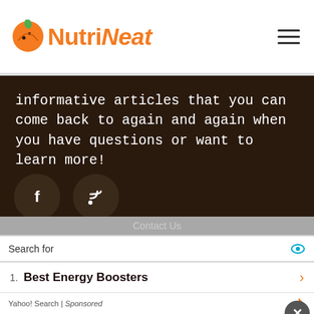NutriNeat
informative articles that you can come back to again and again when you have questions or want to learn more!
[Figure (illustration): Two circular social media icon buttons: Facebook (f) and RSS feed icons on dark background]
Copyright © Nutrineat & Buzzle.com, Inc. 6789 Quail Hill Pkwy, Suite 211 Irvine CA 92603
Privacy Policy
Terms of Use
Contact Us
[Figure (screenshot): Advertisement overlay: Search for 'Best Energy Boosters' Yahoo! Search Sponsored ad unit]